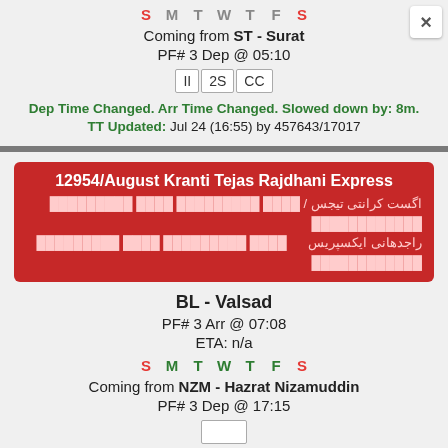S M T W T F S (days row, S and S active in red)
Coming from ST - Surat
PF# 3 Dep @ 05:10
II 2S CC
Dep Time Changed. Arr Time Changed. Slowed down by: 8m.
TT Updated: Jul 24 (16:55) by 457643/17017
12954/August Kranti Tejas Rajdhani Express
اگست کرانتی تیجس / (Urdu script) راجدهانی ایکسپریس
BL - Valsad
PF# 3 Arr @ 07:08
ETA: n/a
S M T W T F S (days row, all active)
Coming from NZM - Hazrat Nizamuddin
PF# 3 Dep @ 17:15